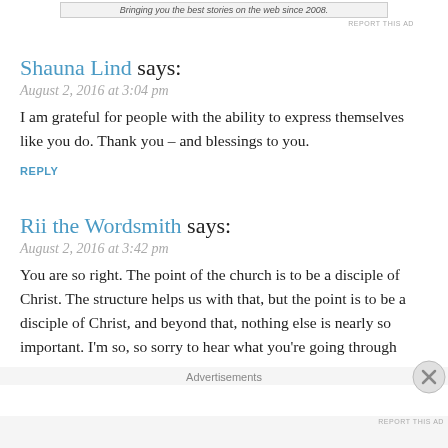Bringing you the best stories on the web since 2008.
REPORT THIS AD
Shauna Lind says:
August 2, 2016 at 3:04 pm
I am grateful for people with the ability to express themselves like you do. Thank you – and blessings to you.
REPLY
Rii the Wordsmith says:
August 2, 2016 at 3:42 pm
You are so right. The point of the church is to be a disciple of Christ. The structure helps us with that, but the point is to be a disciple of Christ, and beyond that, nothing else is nearly so important. I'm so, so sorry to hear what you're going through
Advertisements